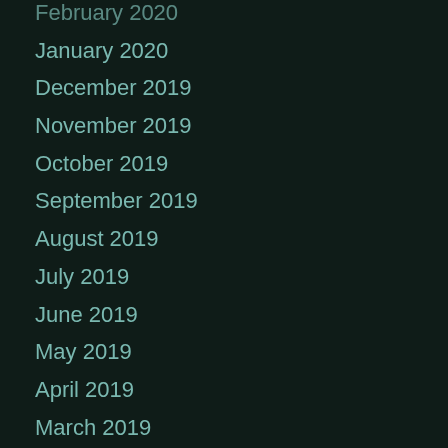February 2020
January 2020
December 2019
November 2019
October 2019
September 2019
August 2019
July 2019
June 2019
May 2019
April 2019
March 2019
February 2019
January 2019
December 2018
November 2018
October 2018
September 2018
August 2018